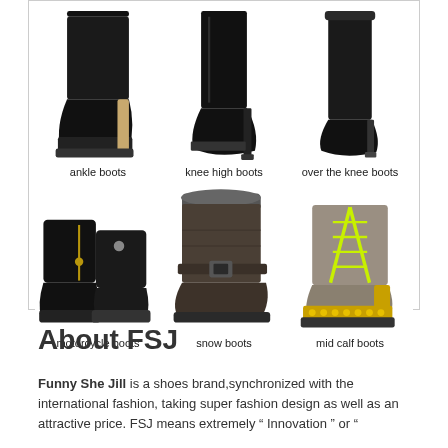[Figure (infographic): 3x2 grid of boot category images inside a bordered box showing: ankle boots, knee high boots, over the knee boots, motorcycle boots, snow boots, mid calf boots]
ankle boots
knee high boots
over the knee boots
motorcycle boots
snow boots
mid calf boots
About FSJ
Funny She Jill is a shoes brand,synchronized with the international fashion, taking super fashion design as well as an attractive price. FSJ means extremely “ Innovation ” or “